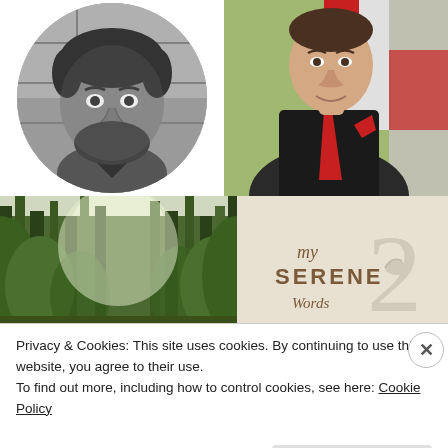[Figure (photo): Black and white circular portrait photo of a man with curly hair and beard]
[Figure (photo): Color photo of a man in a dark suit with red tie and red pocket square, smiling, in front of flags]
[Figure (photo): Color photo of a forest with tall green trees and misty light]
[Figure (logo): My Serene Words logo with decorative script and bird illustration on beige background]
Privacy & Cookies: This site uses cookies. By continuing to use this website, you agree to their use.
To find out more, including how to control cookies, see here: Cookie Policy
Close and accept